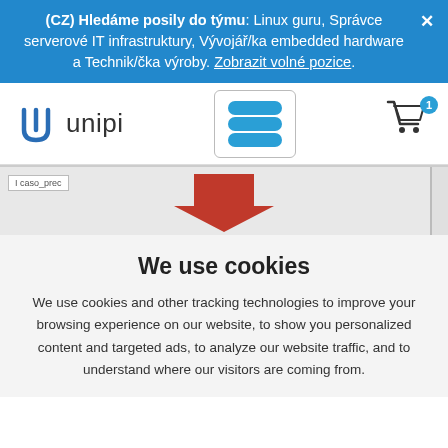(CZ) Hledáme posily do týmu: Linux guru, Správce serverové IT infrastruktury, Vývojář/ka embedded hardware a Technik/čka výroby. Zobrazit volné pozice.
[Figure (screenshot): Unipi logo and navigation bar with hamburger menu and cart icon showing badge '1']
[Figure (screenshot): Partial website hero image with a red downward arrow on gray background]
We use cookies
We use cookies and other tracking technologies to improve your browsing experience on our website, to show you personalized content and targeted ads, to analyze our website traffic, and to understand where our visitors are coming from.